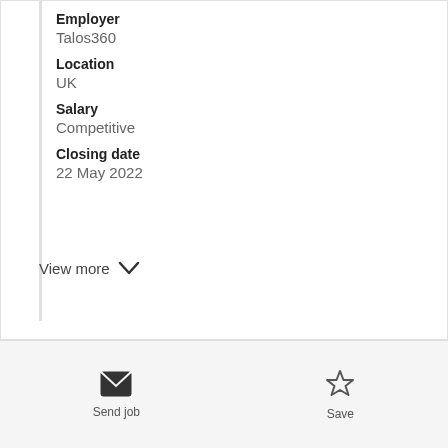Employer
Talos360
Location
UK
Salary
Competitive
Closing date
22 May 2022
View more
Send job
Save